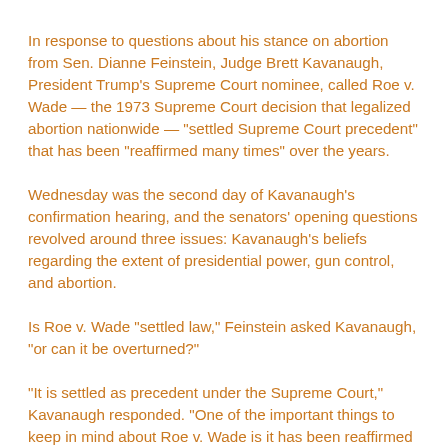In response to questions about his stance on abortion from Sen. Dianne Feinstein, Judge Brett Kavanaugh, President Trump's Supreme Court nominee, called Roe v. Wade — the 1973 Supreme Court decision that legalized abortion nationwide — “settled Supreme Court precedent” that has been “reaffirmed many times” over the years.
Wednesday was the second day of Kavanaugh’s confirmation hearing, and the senators’ opening questions revolved around three issues: Kavanaugh’s beliefs regarding the extent of presidential power, gun control, and abortion.
Is Roe v. Wade “settled law,” Feinstein asked Kavanaugh, “or can it be overturned?”
“It is settled as precedent under the Supreme Court,” Kavanaugh responded. “One of the important things to keep in mind about Roe v. Wade is it has been reaffirmed many times over the years, as you know.”